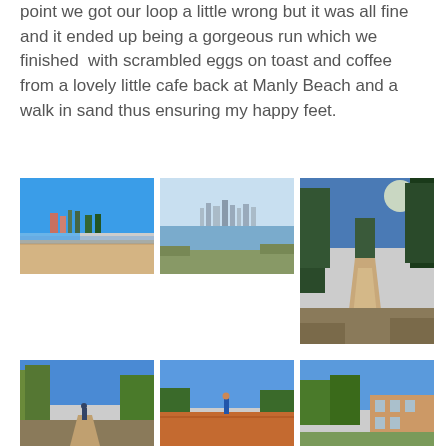point we got our loop a little wrong but it was all fine and it ended up being a gorgeous run which we finished  with scrambled eggs on toast and coffee from a lovely little cafe back at Manly Beach and a walk in sand thus ensuring my happy feet.
[Figure (photo): Sandy beach scene with blue sky, buildings and trees in background]
[Figure (photo): Water/bay view with city skyline in background, blue sky]
[Figure (photo): Dirt trail through bushland with sun and trees, taller image]
[Figure (photo): Bush path with blue sky and trees]
[Figure (photo): Person standing on red clay/dirt field with blue sky]
[Figure (photo): Building amid trees under blue sky]